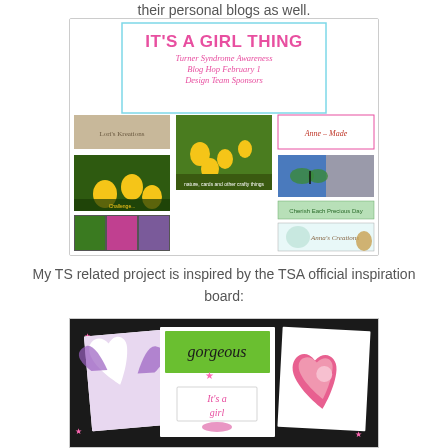their personal blogs as well.
[Figure (other): It's A Girl Thing - Turner Syndrome Awareness Blog Hop February 1 Design Team Sponsors banner with grid of sponsor logos and nature photographs]
My TS related project is inspired by the TSA official inspiration board:
[Figure (other): TSA official inspiration board showing greeting cards with hearts, flowers, angel wings, and text reading 'gorgeous', 'It's a girl']